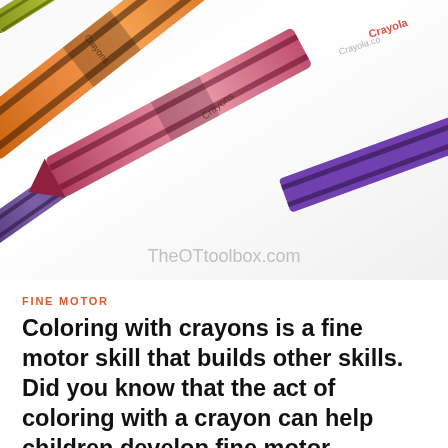[Figure (photo): Close-up photograph of multiple Crayola crayons scattered diagonally, including orange, pink/red, yellow-green, green, and purple crayons. The crayons show their black band wrappers and the Crayola branding. The image has a watermark reading TheOTtoolbox.com at the bottom.]
FINE MOTOR
Coloring with crayons is a fine motor skill that builds other skills. Did you know that the act of coloring with a crayon can help children develop fine motor strength, dexterity, grasp, and endurance in their